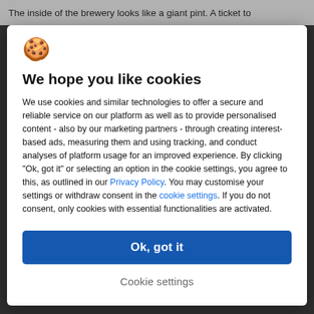The inside of the brewery looks like a giant pint. A ticket to
[Figure (illustration): Cookie emoji icon]
We hope you like cookies
We use cookies and similar technologies to offer a secure and reliable service on our platform as well as to provide personalised content - also by our marketing partners - through creating interest-based ads, measuring them and using tracking, and conduct analyses of platform usage for an improved experience. By clicking "Ok, got it" or selecting an option in the cookie settings, you agree to this, as outlined in our Privacy Policy. You may customise your settings or withdraw consent in the cookie settings. If you do not consent, only cookies with essential functionalities are activated.
Ok, got it
Cookie settings